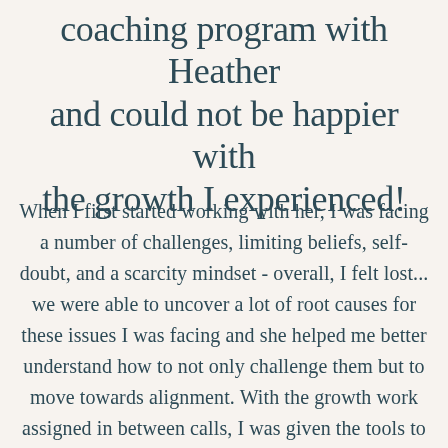coaching program with Heather and could not be happier with the growth I experienced!
When I first started working with her, I was facing a number of challenges, limiting beliefs, self-doubt, and a scarcity mindset - overall, I felt lost... we were able to uncover a lot of root causes for these issues I was facing and she helped me better understand how to not only challenge them but to move towards alignment. With the growth work assigned in between calls, I was given the tools to reflect, uncover my inner knowing, and make